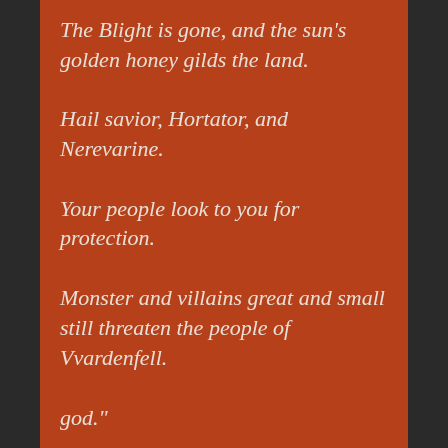The Blight is gone, and the sun's golden honey gilds the land.
Hail savior, Hortator, and Nerevarine.
Your people look to you for protection.
Monster and villains great and small still threaten the people of Vvardenfell.
Enemies and evils abound, yet indomitable
We use cookies to give you the best online experience. By agreeing you accept the use of cookies in accordance with our cookie policy.
MY PREFERENCES
I DECLINE
I ACCEPT
Cookie Policy
god."